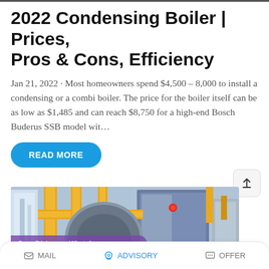2022 Condensing Boiler | Prices, Pros & Cons, Efficiency
Jan 21, 2022 · Most homeowners spend $4,500 – 8,000 to install a condensing or a combi boiler. The price for the boiler itself can be as low as $1,485 and can reach $8,750 for a high-end Bosch Buderus SSB model wit…
[Figure (other): Blue 'READ MORE' button with rounded corners]
[Figure (photo): Industrial condensing boiler equipment with yellow pipes and blue metal structures in a facility]
MAIL   ADVISORY   OFFER